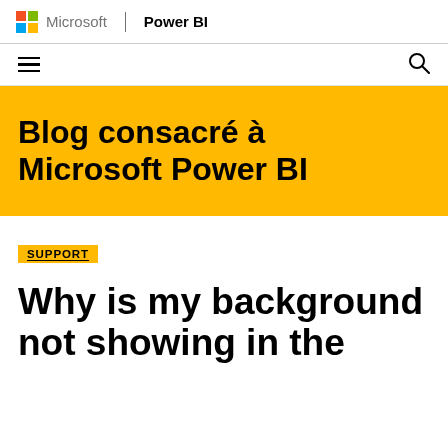Microsoft | Power BI
[Figure (logo): Microsoft logo with colored grid squares and text 'Microsoft | Power BI']
[Figure (infographic): Navigation bar with hamburger menu on left and search icon on right]
Blog consacré à Microsoft Power BI
SUPPORT
Why is my background not showing in the